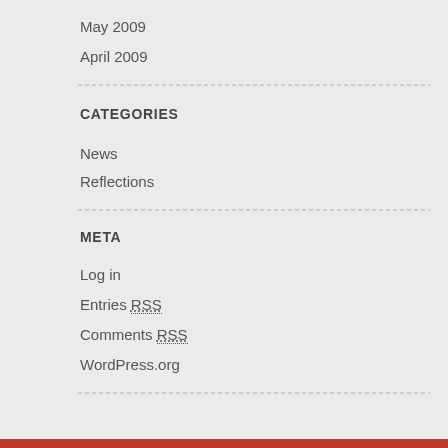May 2009
April 2009
CATEGORIES
News
Reflections
META
Log in
Entries RSS
Comments RSS
WordPress.org